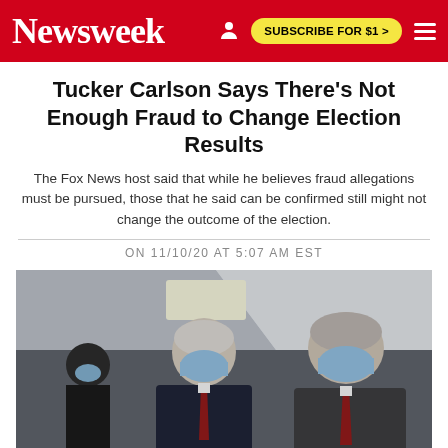Newsweek | SUBSCRIBE FOR $1 >
Tucker Carlson Says There's Not Enough Fraud to Change Election Results
The Fox News host said that while he believes fraud allegations must be pursued, those that he said can be confirmed still might not change the outcome of the election.
ON 11/10/20 AT 5:07 AM EST
[Figure (photo): Two men in dark suits and face masks walking in an indoor corridor, with a third man partially visible in the background on the left.]